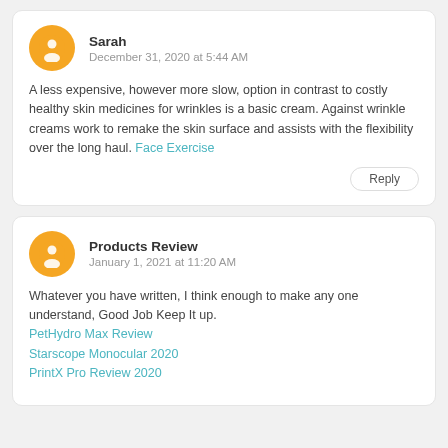Sarah
December 31, 2020 at 5:44 AM
A less expensive, however more slow, option in contrast to costly healthy skin medicines for wrinkles is a basic cream. Against wrinkle creams work to remake the skin surface and assists with the flexibility over the long haul. Face Exercise
Reply
Products Review
January 1, 2021 at 11:20 AM
Whatever you have written, I think enough to make any one understand, Good Job Keep It up.
PetHydro Max Review
Starscope Monocular 2020
PrintX Pro Review 2020